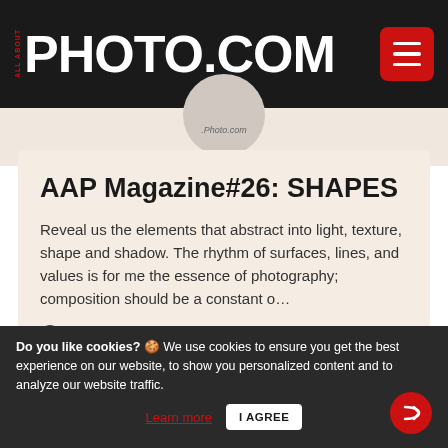ALL ABOUT PHOTO.COM
[Figure (illustration): Circular avatar/logo placeholder showing 'Photo.com' text]
AAP Magazine#26: SHAPES
Reveal us the elements that abstract into light, texture, shape and shadow. The rhythm of surfaces, lines, and values is for me the essence of photography; composition should be a constant o...
Read More
Do you like cookies? 🍪 We use cookies to ensure you get the best experience on our website, to show you personalized content and to analyze our website traffic. Learn more | I AGREE